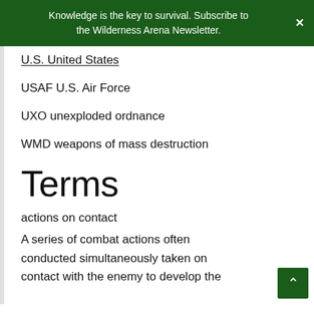Knowledge is the key to survival. Subscribe to the Wilderness Arena Newsletter.
U.S. United States
USAF U.S. Air Force
UXO unexploded ordnance
WMD weapons of mass destruction
Terms
actions on contact
A series of combat actions often conducted simultaneously taken on contact with the enemy to develop the